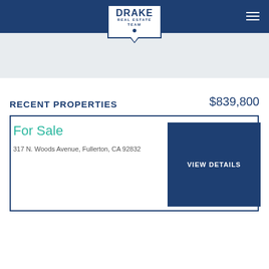DRAKE REAL ESTATE TEAM
RECENT PROPERTIES
$839,800
For Sale
317 N. Woods Avenue, Fullerton, CA 92832
VIEW DETAILS